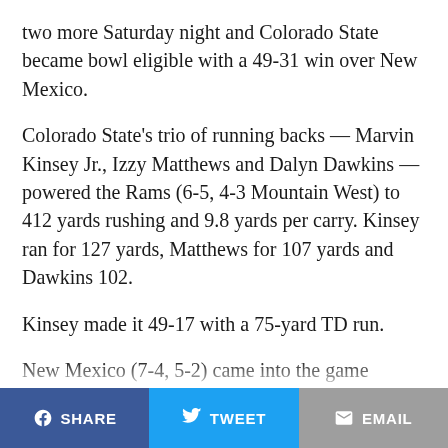two more Saturday night and Colorado State became bowl eligible with a 49-31 win over New Mexico.
Colorado State's trio of running backs — Marvin Kinsey Jr., Izzy Matthews and Dalyn Dawkins — powered the Rams (6-5, 4-3 Mountain West) to 412 yards rushing and 9.8 yards per carry. Kinsey ran for 127 yards, Matthews for 107 yards and Dawkins 102.
Kinsey made it 49-17 with a 75-yard TD run.
New Mexico (7-4, 5-2) came into the game averaging 347.8 yards rushing, best at the FBS level. The Lobos managed 285 yards on 48 carries, though much of that came on Tyrone Owens' 79-yard TD run late in the game. Owens finished with 157 yards rushing and passed the 1,000-yard mark for the
SHARE   TWEET   EMAIL